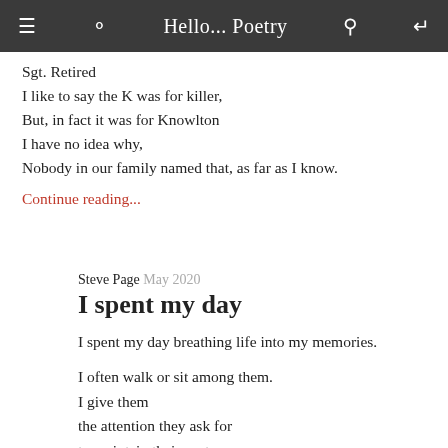Hello... Poetry
Sgt. Retired
I like to say the K was for killer,
But, in fact it was for Knowlton
I have no idea why,
Nobody in our family named that, as far as I know.
Continue reading...
Steve Page  May 2020
I spent my day
I spent my day breathing life into my memories.

I often walk or sit among them.
I give them
the attention they ask for
to maintain their roots.